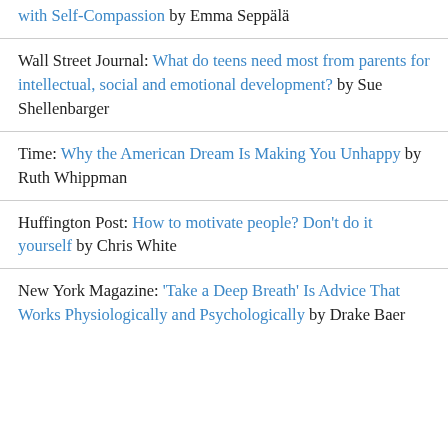with Self-Compassion by Emma Seppälä
Wall Street Journal: What do teens need most from parents for intellectual, social and emotional development? by Sue Shellenbarger
Time: Why the American Dream Is Making You Unhappy by Ruth Whippman
Huffington Post: How to motivate people? Don't do it yourself by Chris White
New York Magazine: 'Take a Deep Breath' Is Advice That Works Physiologically and Psychologically by Drake Baer